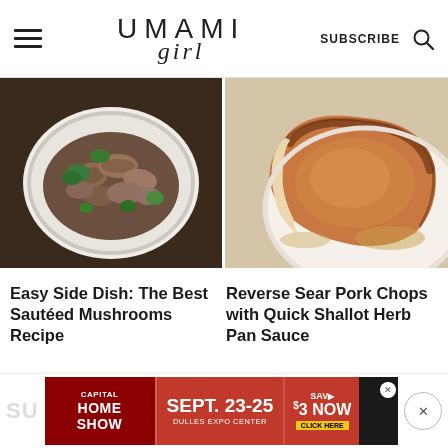UMAMI girl — SUBSCRIBE
[Figure (photo): Bowl of sautéed mushrooms with broccoli on a dark wooden surface]
[Figure (photo): Reverse sear pork chop on a white plate with golden-brown crust]
Easy Side Dish: The Best Sautéed Mushrooms Recipe
Reverse Sear Pork Chops with Quick Shallot Herb Pan Sauce
[Figure (infographic): Advertisement: Capital Home Show, Sept. 23-25, Dulles Expo Center, Save $3 Now, Click Here]